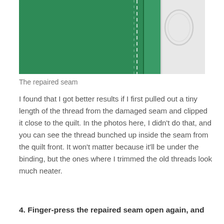[Figure (photo): Close-up photo of a repaired seam on green quilting fabric, showing white stitching lines running vertically near the folded edge of the fabric.]
The repaired seam
I found that I got better results if I first pulled out a tiny length of the thread from the damaged seam and clipped it close to the quilt. In the photos here, I didn’t do that, and you can see the thread bunched up inside the seam from the quilt front. It won’t matter because it’ll be under the binding, but the ones where I trimmed the old threads look much neater.
4. Finger-press the repaired seam open again, and